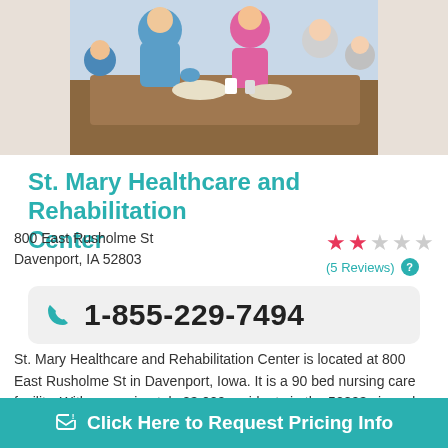[Figure (photo): Photo of elderly residents dining with a caregiver in a healthcare facility setting]
St. Mary Healthcare and Rehabilitation Center
800 East Rusholme St
Davenport, IA 52803
2 out of 5 stars (5 Reviews)
1-855-229-7494
St. Mary Healthcare and Rehabilitation Center is located at 800 East Rusholme St in Davenport, Iowa. It is a 90 bed nursing care facility. With approximately 23,000 residents in the 52803 zip code, the neighboring area is densely ...
Click Here to Request Pricing Info